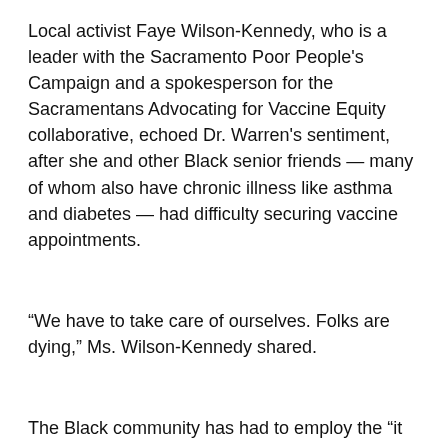Local activist Faye Wilson-Kennedy, who is a leader with the Sacramento Poor People's Campaign and a spokesperson for the Sacramentans Advocating for Vaccine Equity collaborative, echoed Dr. Warren's sentiment, after she and other Black senior friends — many of whom also have chronic illness like asthma and diabetes — had difficulty securing vaccine appointments.
“We have to take care of ourselves. Folks are dying,” Ms. Wilson-Kennedy shared.
The Black community has had to employ the “it